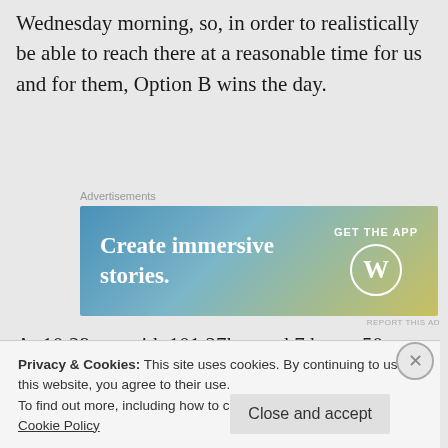Wednesday morning, so, in order to realistically be able to reach there at a reasonable time for us and for them, Option B wins the day.
[Figure (other): WordPress advertisement banner with text 'Create immersive stories.' and 'GET THE APP' with WordPress logo on a blue-to-yellow gradient background.]
At 10:29am, with 101.27km and 7 hours 50 minutes riding on the clock, and a temperature of 21.3o on the thermometer, away we go! making our way towards Cieszyn, with a final destination
Privacy & Cookies: This site uses cookies. By continuing to use this website, you agree to their use.
To find out more, including how to control cookies, see here: Cookie Policy